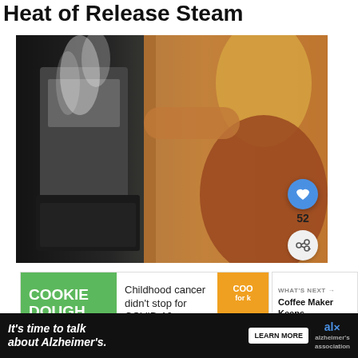Heat of Release Steam
[Figure (photo): A woman with blonde hair operating a coffee machine that is releasing steam, photographed in a cafe setting with warm tones. A blue heart/like button (52 likes) and a share button are overlaid on the right side of the image.]
[Figure (screenshot): Advertisement banner: Cookie Dough brand ad with green background showing 'COOKIE DOUGH' text and 'Childhood cancer didn't stop for COVID-19.' with orange section. Adjacent 'WHAT'S NEXT' panel showing 'Coffee Maker Keeps...']
[Figure (screenshot): Advertisement banner at bottom: Black background with white italic text 'It's time to talk about Alzheimer's.' with a 'LEARN MORE' button and Alzheimer's Association logo.]